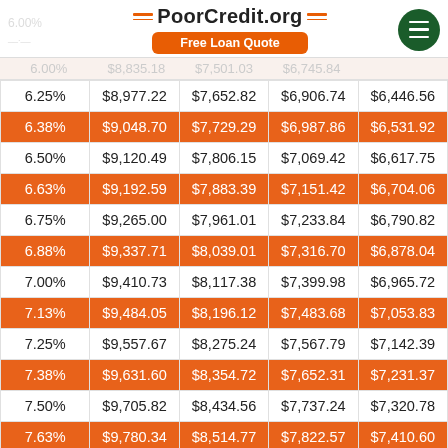PoorCredit.org — Free Loan Quote
| Rate | 10 Year | 15 Year | 20 Year | 25 Year |
| --- | --- | --- | --- | --- |
| 6.25% | $8,977.22 | $7,652.82 | $6,906.74 | $6,446.56 |
| 6.38% | $9,048.70 | $7,729.29 | $6,987.86 | $6,531.92 |
| 6.50% | $9,120.49 | $7,806.15 | $7,069.42 | $6,617.75 |
| 6.63% | $9,192.59 | $7,883.39 | $7,151.42 | $6,704.06 |
| 6.75% | $9,265.00 | $7,961.01 | $7,233.84 | $6,790.82 |
| 6.88% | $9,337.71 | $8,039.01 | $7,316.70 | $6,878.04 |
| 7.00% | $9,410.73 | $8,117.38 | $7,399.98 | $6,965.72 |
| 7.13% | $9,484.05 | $8,196.12 | $7,483.68 | $7,053.83 |
| 7.25% | $9,557.67 | $8,275.24 | $7,567.79 | $7,142.39 |
| 7.38% | $9,631.60 | $8,354.72 | $7,652.31 | $7,231.37 |
| 7.50% | $9,705.82 | $8,434.56 | $7,737.24 | $7,320.78 |
| 7.63% | $9,780.34 | $8,514.77 | $7,822.57 | $7,410.60 |